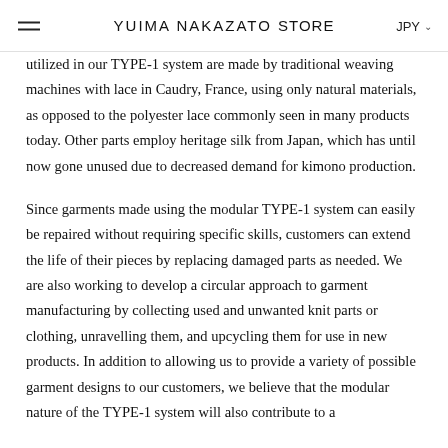YUIMA NAKAZATO Store  JPY
utilized in our TYPE-1 system are made by traditional weaving machines with lace in Caudry, France, using only natural materials, as opposed to the polyester lace commonly seen in many products today. Other parts employ heritage silk from Japan, which has until now gone unused due to decreased demand for kimono production.
Since garments made using the modular TYPE-1 system can easily be repaired without requiring specific skills, customers can extend the life of their pieces by replacing damaged parts as needed. We are also working to develop a circular approach to garment manufacturing by collecting used and unwanted knit parts or clothing, unravelling them, and upcycling them for use in new products. In addition to allowing us to provide a variety of possible garment designs to our customers, we believe that the modular nature of the TYPE-1 system will also contribute to a